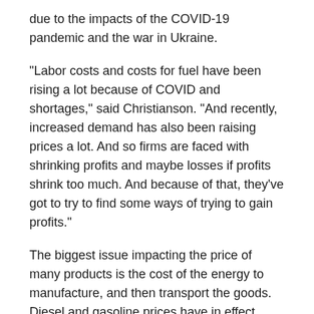due to the impacts of the COVID-19 pandemic and the war in Ukraine.
“Labor costs and costs for fuel have been rising a lot because of COVID and shortages,” said Christianson. “And recently, increased demand has also been raising prices a lot. And so firms are faced with shrinking profits and maybe losses if profits shrink too much. And because of that, they’ve got to try to find some ways of trying to gain profits.”
The biggest issue impacting the price of many products is the cost of the energy to manufacture, and then transport the goods. Diesel and gasoline prices have in effect almost doubled over the past 12 months.
That in itself has impacted prices of many products, and services too.